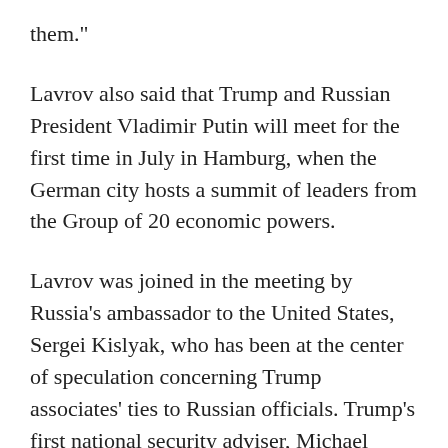them."
Lavrov also said that Trump and Russian President Vladimir Putin will meet for the first time in July in Hamburg, when the German city hosts a summit of leaders from the Group of 20 economic powers.
Lavrov was joined in the meeting by Russia's ambassador to the United States, Sergei Kislyak, who has been at the center of speculation concerning Trump associates' ties to Russian officials. Trump's first national security adviser, Michael Flynn, was fired after he misled White House officials about his interactions with Kislyak and others.
Lavrov also discussed Syria and other issues with Tillerson, who said the meeting was a chance for the two to "continue our dialogue and our exchange of